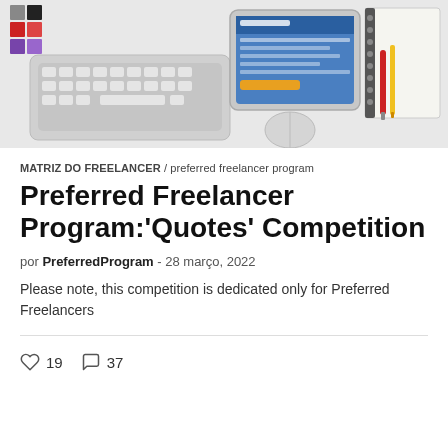[Figure (photo): Overhead flat-lay photo of design workspace with keyboard, tablet showing app, color swatches, notebook, pen and other desk items on white background.]
MATRIZ DO FREELANCER / preferred freelancer program
Preferred Freelancer Program:'Quotes' Competition
por PreferredProgram - 28 março, 2022
Please note, this competition is dedicated only for Preferred Freelancers
19  37